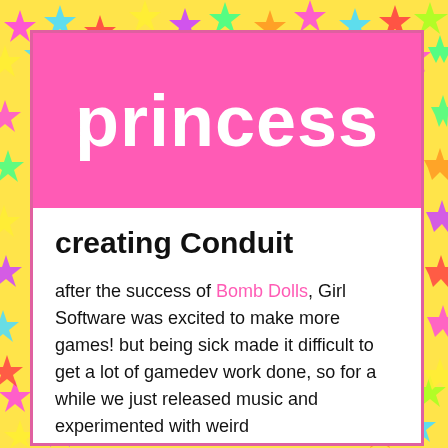[Figure (illustration): Colorful star confetti background in yellow, pink, blue, green, red, purple on all sides around the main card]
princess
creating Conduit
after the success of Bomb Dolls, Girl Software was excited to make more games! but being sick made it difficult to get a lot of gamedev work done, so for a while we just released music and experimented with weird